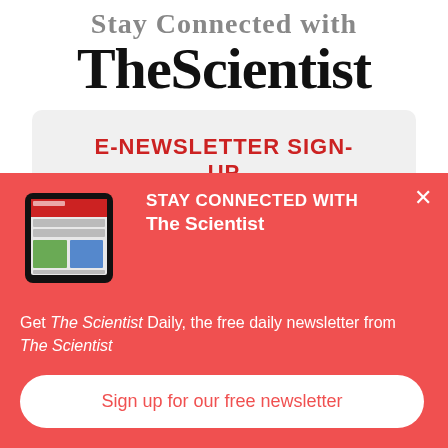Stay Connected with TheScientist
E-NEWSLETTER SIGN-UP
Subscribe to receive The Scientist
[Figure (screenshot): Red popup overlay showing a tablet device with The Scientist app, heading 'STAY CONNECTED WITH The Scientist', body text about free daily newsletter, and a sign up button.]
STAY CONNECTED WITH The Scientist
Get The Scientist Daily, the free daily newsletter from The Scientist
Sign up for our free newsletter